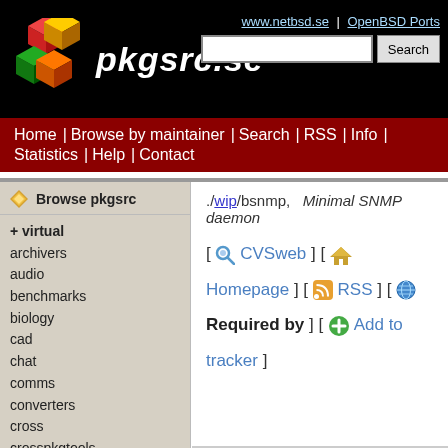pkgsrc.se
www.netbsd.se | OpenBSD Ports
Search
Home | Browse by maintainer | Search | RSS | Info | Statistics | Help | Contact
Browse pkgsrc
+ virtual
archivers
audio
benchmarks
biology
cad
chat
comms
converters
cross
crosspkgtools
databases
devel
doc
editors
emulators
./wip/bsnmp, Minimal SNMP daemon
[ CVSweb ] [ Homepage ] [ RSS ] [ Required by ] [ Add to tracker ]